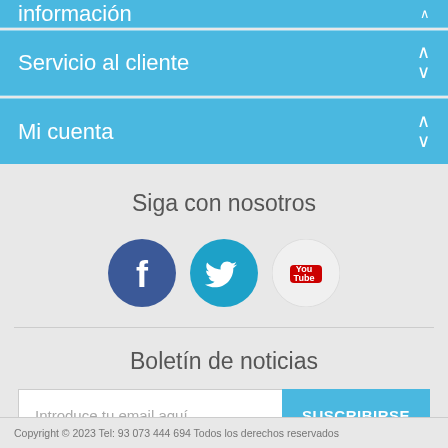Información (collapsed)
Servicio al cliente
Mi cuenta
Siga con nosotros
[Figure (illustration): Three social media icons: Facebook (dark blue circle with white f), Twitter (teal circle with white bird), YouTube (white circle with YouTube logo)]
Boletín de noticias
Introduce tu email aquí...
SUSCRIBIRSE
Copyright © 2023 Tel: 93 073 444 694 Todos los derechos reservados